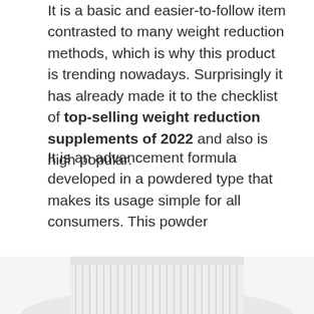It is a basic and easier-to-follow item contrasted to many weight reduction methods, which is why this product is trending nowadays. Surprisingly it has already made it to the checklist of top-selling weight reduction supplements of 2022 and also is high popular.
It is an advancement formula developed in a powdered type that makes its usage simple for all consumers. This powder conveniently blends with water or any type of beverage of your choice. Once inside the body, it sets off an all-natural fat melt and healthy fat burning, no matter what is the weight of a person.
[Figure (photo): Bottom portion of a white supplement container/bottle viewed from the side, showing ribbed lid/cap detail, cut off at bottom of page]